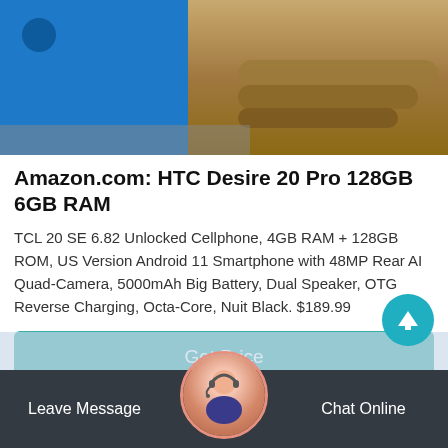[Figure (photo): Product image showing a blue metal box/enclosure on the left and bamboo logs on the right with wooden surface background]
Amazon.com: HTC Desire 20 Pro 128GB 6GB RAM
TCL 20 SE 6.82 Unlocked Cellphone, 4GB RAM + 128GB ROM, US Version Android 11 Smartphone with 48MP Rear AI Quad-Camera, 5000mAh Big Battery, Dual Speaker, OTG Reverse Charging, Octa-Core, Nuit Black. $189.99
Get Price
Leave Message
Chat Online